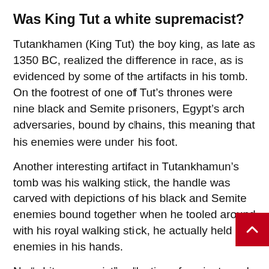Was King Tut a white supremacist?
Tutankhamen (King Tut) the boy king, as late as 1350 BC, realized the difference in race, as is evidenced by some of the artifacts in his tomb. On the footrest of one of Tut’s thrones were nine black and Semite prisoners, Egypt’s arch adversaries, bound by chains, this meaning that his enemies were under his foot.
Another interesting artifact in Tutankhamun’s tomb was his walking stick, the handle was carved with depictions of his black and Semite enemies bound together when he tooled around with his royal walking stick, he actually held his enemies in his hands.
No “white supremist” collection of ancient royal artifacts would be complete without a classy pa sandals with inlays of black and Semitic rivals, a